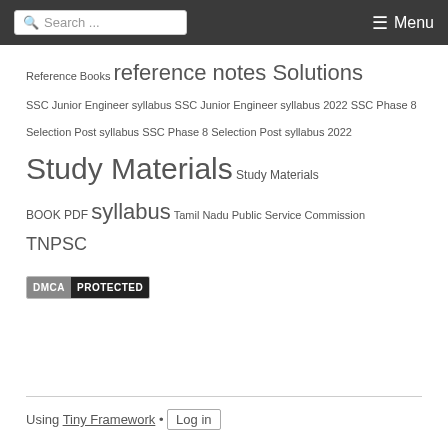Search ... Menu
Reference Books reference notes Solutions SSC Junior Engineer syllabus SSC Junior Engineer syllabus 2022 SSC Phase 8 Selection Post syllabus SSC Phase 8 Selection Post syllabus 2022 Study Materials Study Materials BOOK PDF syllabus Tamil Nadu Public Service Commission TNPSC
[Figure (logo): DMCA Protected badge]
Using Tiny Framework • Log in